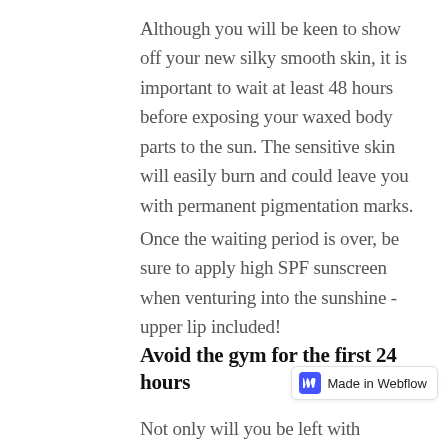Although you will be keen to show off your new silky smooth skin, it is important to wait at least 48 hours before exposing your waxed body parts to the sun. The sensitive skin will easily burn and could leave you with permanent pigmentation marks.
Once the waiting period is over, be sure to apply high SPF sunscreen when venturing into the sunshine - upper lip included!
Avoid the gym for the first 24 hours
Not only will you be left with flawless